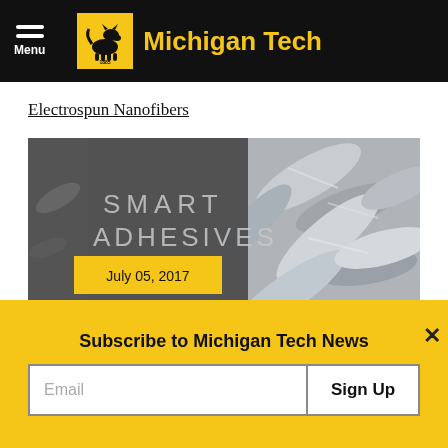Menu | Michigan Tech
Electrospun Nanofibers
[Figure (photo): Michigan Tech Smart Adhesives article banner showing mussels on the right and a dark overlay with 'SMART ADHESIVES' text and 'July 05, 2017' date badge on the left]
Smart Adhesives
Subscribe to Michigan Tech News
Email  Sign Up